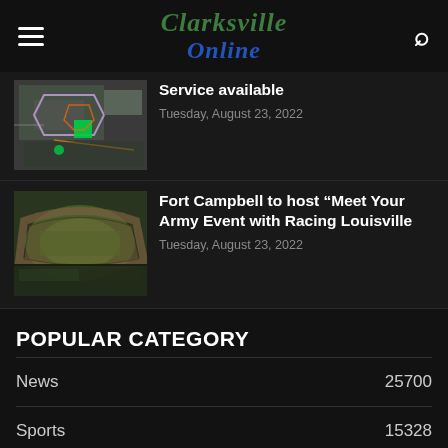Clarksville Online
Service available
Tuesday, August 23, 2022
[Figure (photo): Aerial view of a building complex with colored architectural overlay markings]
Fort Campbell to host "Meet Your Army Event with Racing Louisville
Tuesday, August 23, 2022
[Figure (photo): Aerial view of a sports stadium with a green football field]
POPULAR CATEGORY
News 25700
Sports 15328
Events 7924
Education 3885